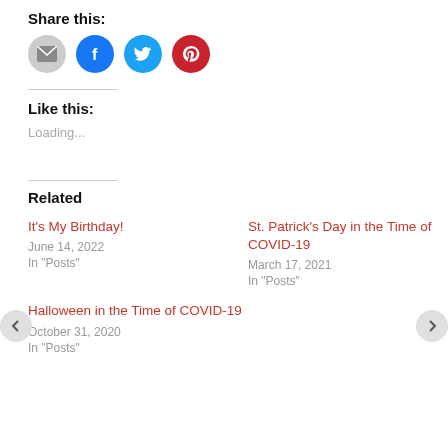Share this:
[Figure (infographic): Four social sharing icon buttons: email (gray circle), Facebook (blue circle), Twitter (cyan circle), Pinterest (red circle)]
Like this:
Loading...
Related
It's My Birthday!
June 14, 2022
In "Posts"
St. Patrick's Day in the Time of COVID-19
March 17, 2021
In "Posts"
Halloween in the Time of COVID-19
October 31, 2020
In "Posts"